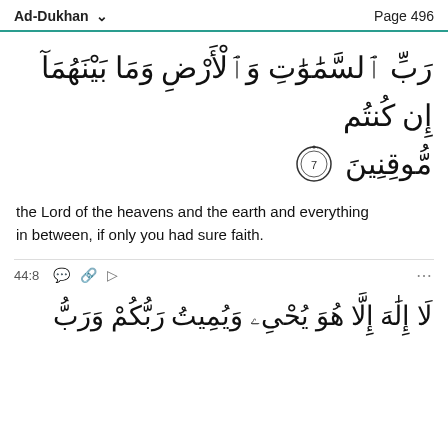Ad-Dukhan  Page 496
رَبِّ ٱلسَّمَٰوَٰتِ وَٱلْأَرْضِ وَمَا بَيْنَهُمَآ إِن كُنتُم مُّوقِنِينَ ٧
the Lord of the heavens and the earth and everything in between, if only you had sure faith.
44:8
لَا إِلَٰهَ إِلَّا هُوَ يُحْىِۦ وَيُمِيتُ رَبُّكُمْ وَرَبُّ